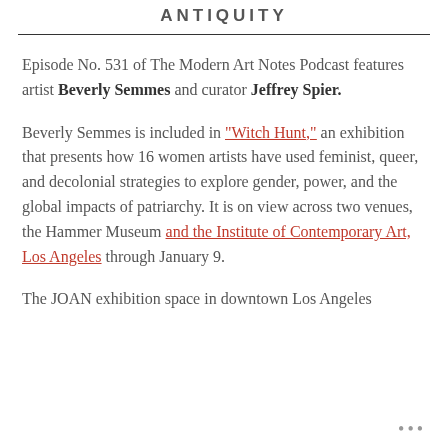ANTIQUITY
Episode No. 531 of The Modern Art Notes Podcast features artist Beverly Semmes and curator Jeffrey Spier.
Beverly Semmes is included in “Witch Hunt,” an exhibition that presents how 16 women artists have used feminist, queer, and decolonial strategies to explore gender, power, and the global impacts of patriarchy. It is on view across two venues, the Hammer Museum and the Institute of Contemporary Art, Los Angeles through January 9.
The JOAN exhibition space in downtown Los Angeles
•••